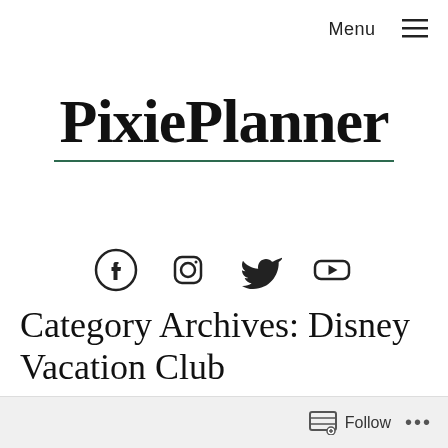Menu ≡
PixiePlanner
[Figure (illustration): Social media icons: Facebook, Instagram, Twitter, YouTube]
Category Archives: Disney Vacation Club
Follow  •••